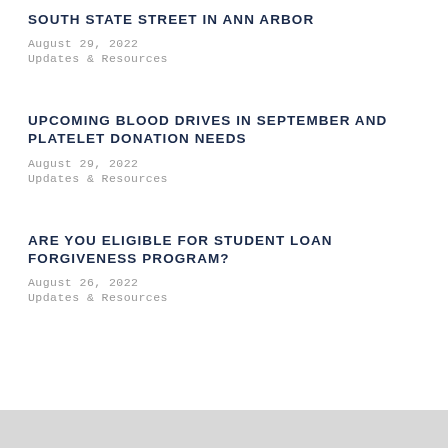SOUTH STATE STREET IN ANN ARBOR
August 29, 2022
Updates & Resources
UPCOMING BLOOD DRIVES IN SEPTEMBER AND PLATELET DONATION NEEDS
August 29, 2022
Updates & Resources
ARE YOU ELIGIBLE FOR STUDENT LOAN FORGIVENESS PROGRAM?
August 26, 2022
Updates & Resources